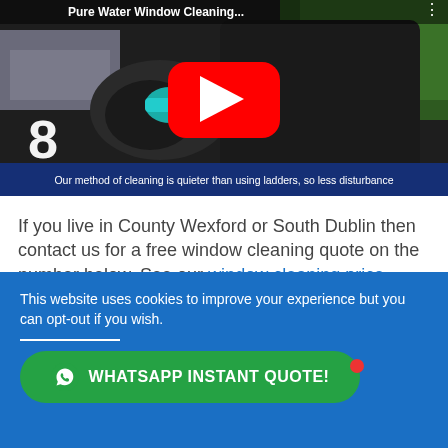[Figure (screenshot): YouTube video thumbnail showing a man in black gloves and black shirt working with a blue hose fitting for pure water window cleaning. A YouTube play button (red rounded rectangle with white triangle) is overlaid in the center. The number 8 appears in white at lower left. Title bar reads 'Pure Water Window Cleaning...' with a menu dots icon.]
Our method of cleaning is quieter than using ladders, so less disturbance
If you live in County Wexford or South Dublin then contact us for a free window cleaning quote on the number below. See our window cleaning price
This website uses cookies to improve your experience but you can opt-out if you wish.
WHATSAPP INSTANT QUOTE!